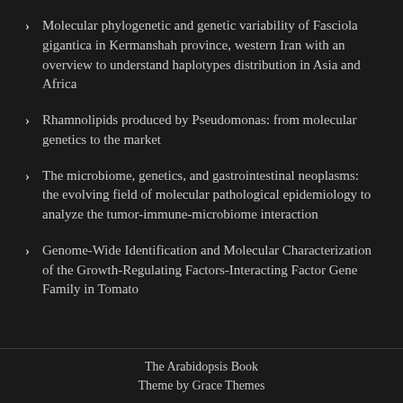Molecular phylogenetic and genetic variability of Fasciola gigantica in Kermanshah province, western Iran with an overview to understand haplotypes distribution in Asia and Africa
Rhamnolipids produced by Pseudomonas: from molecular genetics to the market
The microbiome, genetics, and gastrointestinal neoplasms: the evolving field of molecular pathological epidemiology to analyze the tumor-immune-microbiome interaction
Genome-Wide Identification and Molecular Characterization of the Growth-Regulating Factors-Interacting Factor Gene Family in Tomato
The Arabidopsis Book
Theme by Grace Themes